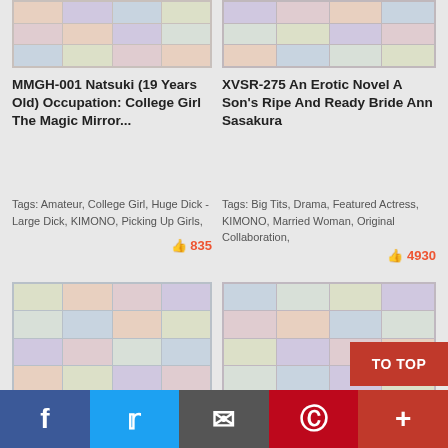[Figure (photo): Thumbnail image for MMGH-001 product]
[Figure (photo): Thumbnail image for XVSR-275 product]
MMGH-001 Natsuki (19 Years Old) Occupation: College Girl The Magic Mirror...
XVSR-275 An Erotic Novel A Son's Ripe And Ready Bride Ann Sasakura
Tags: Amateur, College Girl, Huge Dick - Large Dick, KIMONO, Picking Up Girls,
Tags: Big Tits, Drama, Featured Actress, KIMONO, Married Woman, Original Collaboration,
👍 835
👍 4930
[Figure (photo): Thumbnail image for WA-353 product]
[Figure (photo): Thumbnail image for SDMU-690 product]
WA-353 Married Woman Immoral Traveling Mood Her First Anal
SDMU-690 Continued The Magic Mirror Number Bus The
f  Twitter  Email  Pinterest  +